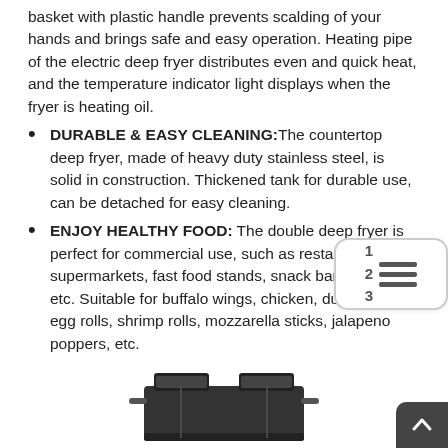basket with plastic handle prevents scalding of your hands and brings safe and easy operation. Heating pipe of the electric deep fryer distributes even and quick heat, and the temperature indicator light displays when the fryer is heating oil.
DURABLE & EASY CLEANING:The countertop deep fryer, made of heavy duty stainless steel, is solid in construction. Thickened tank for durable use, can be detached for easy cleaning.
ENJOY HEALTHY FOOD: The double deep fryer is perfect for commercial use, such as restaurants, supermarkets, fast food stands, snack bars, parties, etc. Suitable for buffalo wings, chicken, dumplings, egg rolls, shrimp rolls, mozzarella sticks, jalapeno poppers, etc.
[Figure (photo): Product image of a double deep fryer, black/dark colored commercial unit]